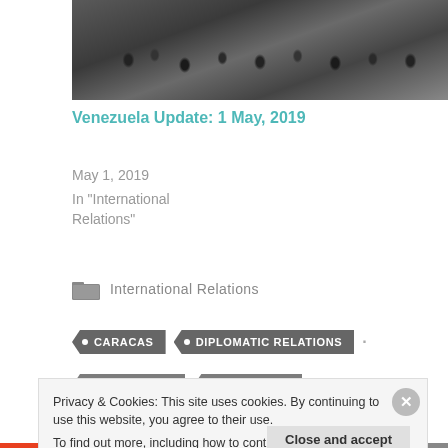[Figure (photo): Crowd of people at a public event or protest, viewed from above]
Venezuela Update: 1 May, 2019
May 1, 2019
In "International Relations"
International Relations
• CARACAS
• DIPLOMATIC RELATIONS
Privacy & Cookies: This site uses cookies. By continuing to use this website, you agree to their use.
To find out more, including how to control cookies, see here: Cookie Policy
Close and accept